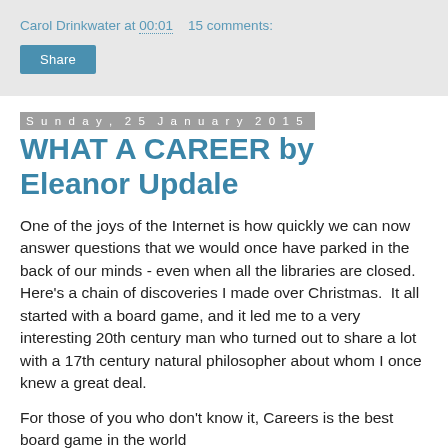Carol Drinkwater at 00:01   15 comments:
Share
Sunday, 25 January 2015
WHAT A CAREER by Eleanor Updale
One of the joys of the Internet is how quickly we can now answer questions that we would once have parked in the back of our minds - even when all the libraries are closed.  Here's a chain of discoveries I made over Christmas.  It all started with a board game, and it led me to a very interesting 20th century man who turned out to share a lot with a 17th century natural philosopher about whom I once knew a great deal.
For those of you who don't know it, Careers is the best board game in the world